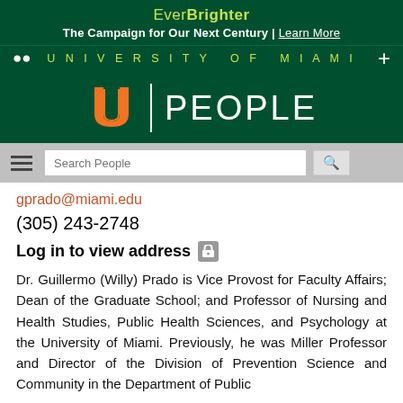Ever Brighter — The Campaign for Our Next Century | Learn More
UNIVERSITY OF MIAMI
[Figure (logo): University of Miami U logo with PEOPLE text]
gprado@miami.edu
(305) 243-2748
Log in to view address
Dr. Guillermo (Willy) Prado is Vice Provost for Faculty Affairs; Dean of the Graduate School; and Professor of Nursing and Health Studies, Public Health Sciences, and Psychology at the University of Miami. Previously, he was Miller Professor and Director of the Division of Prevention Science and Community in the Department of Public